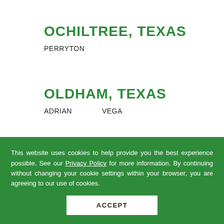OCHILTREE, TEXAS
PERRYTON
OLDHAM, TEXAS
ADRIAN    VEGA
This website uses cookies to help provide you the best experience possible. See our Privacy Policy for more information. By continuing without changing your cookie settings within your browser, you are agreeing to our use of cookies.
ACCEPT